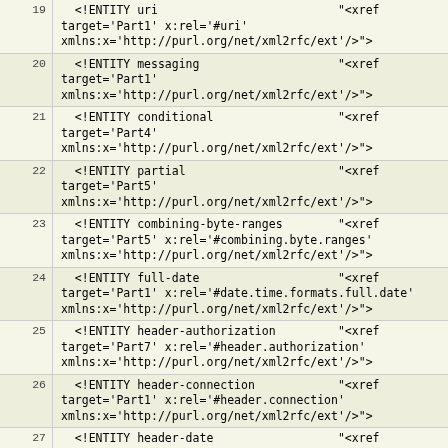| line | code |
| --- | --- |
| 19 |   <!ENTITY uri                          "<xref
target='Part1' x:rel='#uri'
xmlns:x='http://purl.org/net/xml2rfc/ext'/>"> |
| 20 |   <!ENTITY messaging                    "<xref
target='Part1'
xmlns:x='http://purl.org/net/xml2rfc/ext'/>"> |
| 21 |   <!ENTITY conditional                  "<xref
target='Part4'
xmlns:x='http://purl.org/net/xml2rfc/ext'/>"> |
| 22 |   <!ENTITY partial                      "<xref
target='Part5'
xmlns:x='http://purl.org/net/xml2rfc/ext'/>"> |
| 23 |   <!ENTITY combining-byte-ranges        "<xref
target='Part5' x:rel='#combining.byte.ranges'
xmlns:x='http://purl.org/net/xml2rfc/ext'/>"> |
| 24 |   <!ENTITY full-date                    "<xref
target='Part1' x:rel='#date.time.formats.full.date'
xmlns:x='http://purl.org/net/xml2rfc/ext'/>"> |
| 25 |   <!ENTITY header-authorization         "<xref
target='Part7' x:rel='#header.authorization'
xmlns:x='http://purl.org/net/xml2rfc/ext'/>"> |
| 26 |   <!ENTITY header-connection            "<xref
target='Part1' x:rel='#header.connection'
xmlns:x='http://purl.org/net/xml2rfc/ext'/>"> |
| 27 |   <!ENTITY header-date                  "<xref
target='Part1' x:rel='#header.date'
xmlns:x='http://purl.org/net/xml2rfc/ext'/>"> |
| 28 |   <!ENTITY header-via                   "<xref
target='Part1' x:rel='#header.via'
xmlns:x='http://purl.org/net/xml2rfc/ext'/>"> |
| 29 |   <!ENTITY header-last-modified         "<xref
target='Part4' x:rel='#header.last-modified'
xmlns:x='http://purl.org/net/xml2rfc/ext'/>"> |
| 30 |   <!ENTITY header-fields                "<xref
target='Part1' x:rel='#header.fields'
xmlns:x='http://purl.org/net/xml2rfc/ext'/>"> |